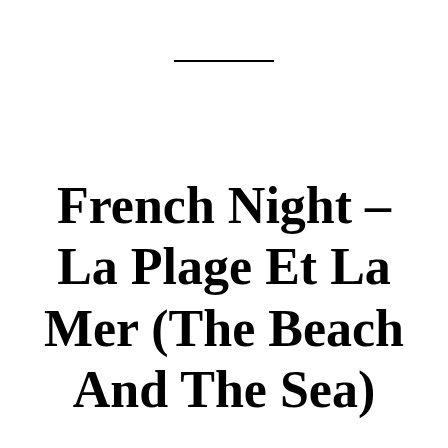French Night – La Plage Et La Mer (The Beach And The Sea)